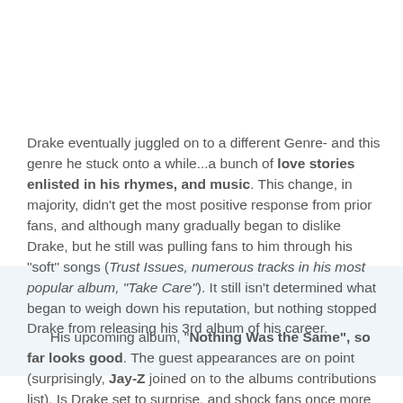Drake eventually juggled on to a different Genre- and this genre he stuck onto a while...a bunch of love stories enlisted in his rhymes, and music. This change, in majority, didn't get the most positive response from prior fans, and although many gradually began to dislike Drake, but he still was pulling fans to him through his "soft" songs (Trust Issues, numerous tracks in his most popular album, "Take Care"). It still isn't determined what began to weigh down his reputation, but nothing stopped Drake from releasing his 3rd album of his career.
His upcoming album, "Nothing Was the Same", so far looks good. The guest appearances are on point (surprisingly, Jay-Z joined on to the albums contributions list). Is Drake set to surprise, and shock fans once more